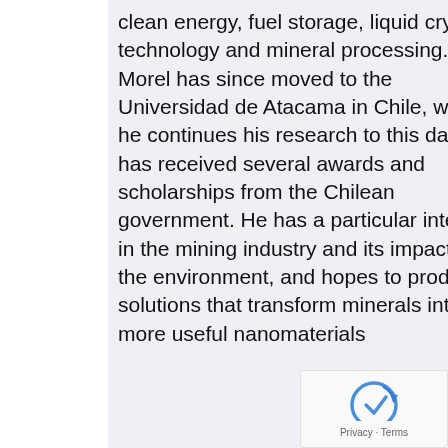clean energy, fuel storage, liquid crystal technology and mineral processing. Dr Morel has since moved to the Universidad de Atacama in Chile, where he continues his research to this day. He has received several awards and scholarships from the Chilean government. He has a particular interest in the mining industry and its impacts on the environment, and hopes to produce solutions that transform minerals into more useful nanomaterials